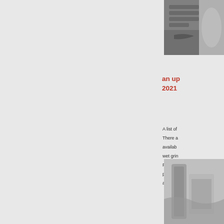[Figure (photo): Close-up photo of hands on keyboard or similar mechanical tool, black and white/grayscale]
an up
2021
A list of
There a
availab
wet grin
First, st
price of
average
[Figure (photo): Grayscale photo of some mechanical or industrial equipment, partially visible]